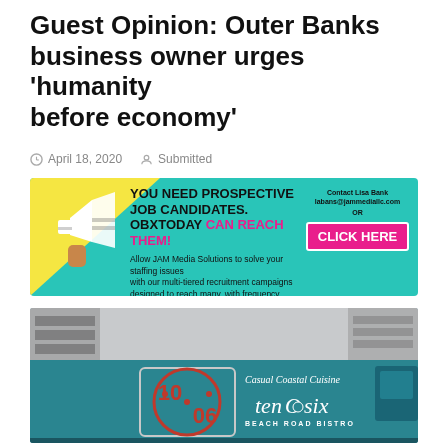Guest Opinion: Outer Banks business owner urges 'humanity before economy'
April 18, 2020  Submitted
[Figure (advertisement): JAM Media Solutions ad: YOU NEED PROSPECTIVE JOB CANDIDATES. OBXTODAY CAN REACH THEM! Allow JAM Media Solutions to solve your staffing issues with our multi-tiered recruitment campaigns designed to reach many, with frequency. Contact Lisa Bank labans@jammediallc.com OR CLICK HERE]
[Figure (photo): Food truck or bus with teal/blue color showing '10:06' logo and 'tenOsix Beach Road Bistro - Casual Coastal Cuisine' branding]